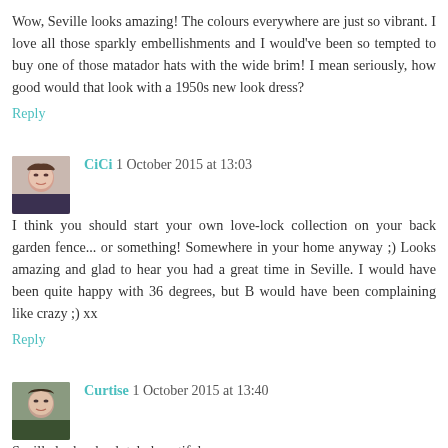Wow, Seville looks amazing! The colours everywhere are just so vibrant. I love all those sparkly embellishments and I would've been so tempted to buy one of those matador hats with the wide brim! I mean seriously, how good would that look with a 1950s new look dress?
Reply
CiCi 1 October 2015 at 13:03
I think you should start your own love-lock collection on your back garden fence... or something! Somewhere in your home anyway ;) Looks amazing and glad to hear you had a great time in Seville. I would have been quite happy with 36 degrees, but B would have been complaining like crazy ;) xx
Reply
Curtise 1 October 2015 at 13:40
Seville looks absolutely beautiful.